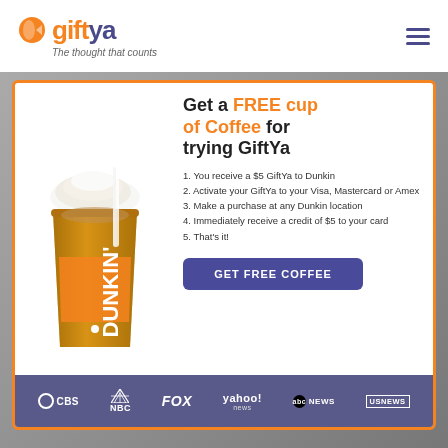[Figure (logo): GiftYa logo with orange circle icon, 'gift' in orange and 'ya' in dark purple, tagline 'The thought that counts']
Inte...  spe...
[Figure (infographic): GiftYa promotional modal popup with Dunkin iced coffee cup image, 'Get a FREE cup of Coffee for trying GiftYa' headline, 5 steps, GET FREE COFFEE button, and media logos (CBS, NBC, FOX, yahoo! news, abc NEWS, US NEWS)]
1. You receive a $5 GiftYa to Dunkin
2. Activate your GiftYa to your Visa, Mastercard or Amex
3. Make a purchase at any Dunkin location
4. Immediately receive a credit of $5 to your card
5. That's it!